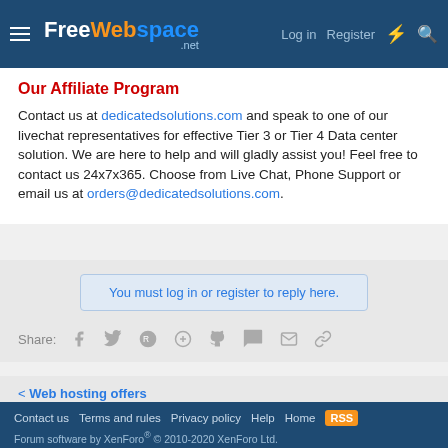FreeWebSpace.net — Log in | Register
Our Affiliate Program
Contact us at dedicatedsolutions.com and speak to one of our livechat representatives for effective Tier 3 or Tier 4 Data center solution. We are here to help and will gladly assist you! Feel free to contact us 24x7x365. Choose from Live Chat, Phone Support or email us at orders@dedicatedsolutions.com.
You must log in or register to reply here.
Share:
< Web hosting offers
Contact us | Terms and rules | Privacy policy | Help | Home | RSS | Forum software by XenForo® © 2010-2020 XenForo Ltd.